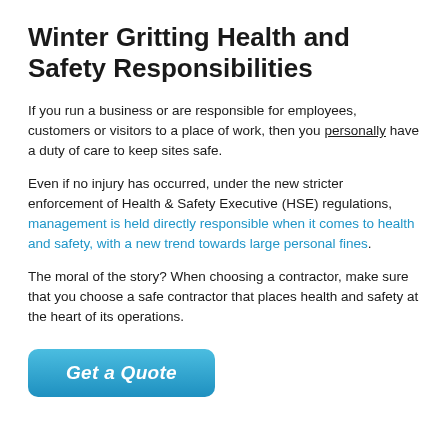Winter Gritting Health and Safety Responsibilities
If you run a business or are responsible for employees, customers or visitors to a place of work, then you personally have a duty of care to keep sites safe.
Even if no injury has occurred, under the new stricter enforcement of Health & Safety Executive (HSE) regulations, management is held directly responsible when it comes to health and safety, with a new trend towards large personal fines.
The moral of the story? When choosing a contractor, make sure that you choose a safe contractor that places health and safety at the heart of its operations.
[Figure (other): Blue rounded button labeled 'Get a Quote' in white italic bold text]